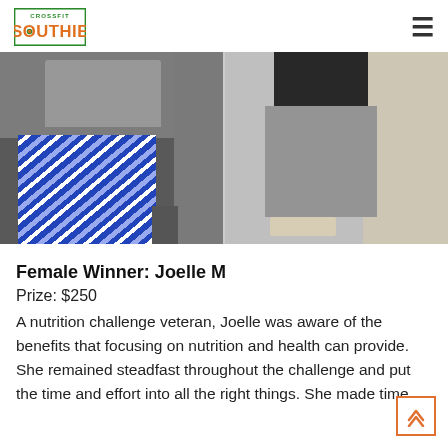CrossFit Southie logo and navigation
[Figure (photo): Side-by-side before and after photos of a woman in a gym. Left photo shows her in a gray shirt and blue/white patterned leggings. Right photo shows her in a black sports bra and gray leggings with a slimmer midsection visible.]
Female Winner: Joelle M
Prize: $250
A nutrition challenge veteran, Joelle was aware of the benefits that focusing on nutrition and health can provide. She remained steadfast throughout the challenge and put the time and effort into all the right things. She made time